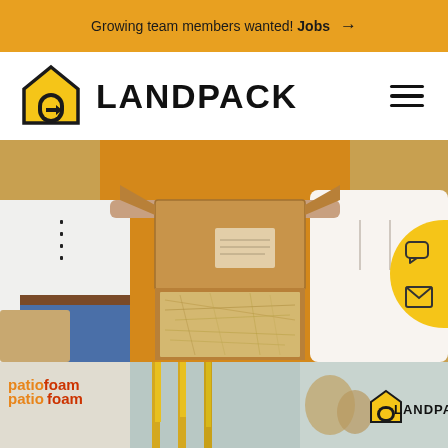Growing team members wanted! Jobs →
[Figure (logo): Landpack logo with yellow house icon and bold LANDPACK text, plus hamburger menu icon]
[Figure (photo): Two people holding open a cardboard packaging box with natural fiber insulation lining, against an orange background]
[Figure (photo): Bottom strip showing patiofoam branding with yellow hanging elements and Landpack logo on right]